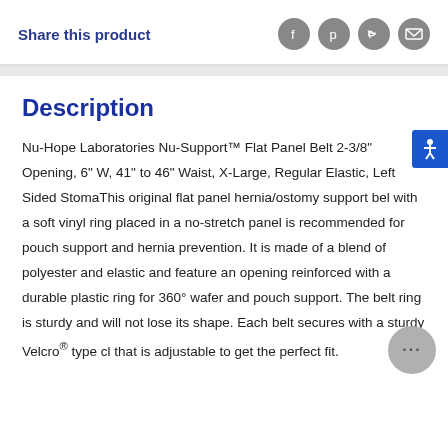Share this product
Description
Nu-Hope Laboratories Nu-Support™ Flat Panel Belt 2-3/8" Opening, 6" W, 41" to 46" Waist, X-Large, Regular Elastic, Left Sided StomaThis original flat panel hernia/ostomy support belt with a soft vinyl ring placed in a no-stretch panel is recommended for pouch support and hernia prevention. It is made of a blend of polyester and elastic and feature an opening reinforced with a durable plastic ring for 360° wafer and pouch support. The belt ring is sturdy and will not lose its shape. Each belt secures with a sturdy Velcro® type closure that is adjustable to get the perfect fit.